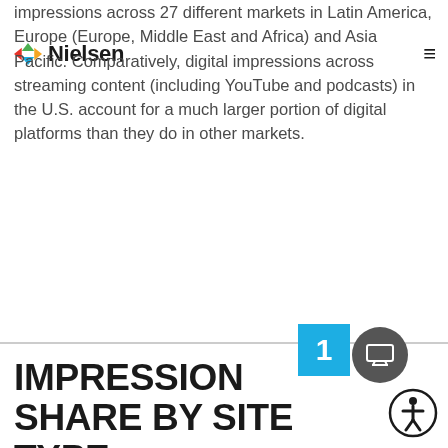Nielsen
impressions across 27 different markets in Latin America, Europe (Europe, Middle East and Africa) and Asia Pacific. Comparatively, digital impressions across streaming content (including YouTube and podcasts) in the U.S. account for a much larger portion of digital platforms than they do in other markets.
IMPRESSION SHARE BY SITE TYPE
International and U.S.